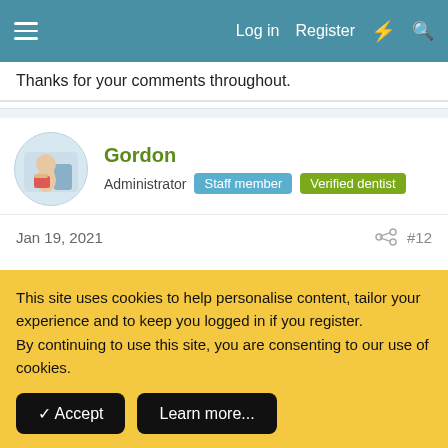Log in  Register
Thanks for your comments throughout.
Gordon
Administrator  Staff member  Verified dentist
Jan 19, 2021  #12
I'm glad you've got it done, keep me posted, I like to hear how these things turn out.
This site uses cookies to help personalise content, tailor your experience and to keep you logged in if you register.
By continuing to use this site, you are consenting to our use of cookies.